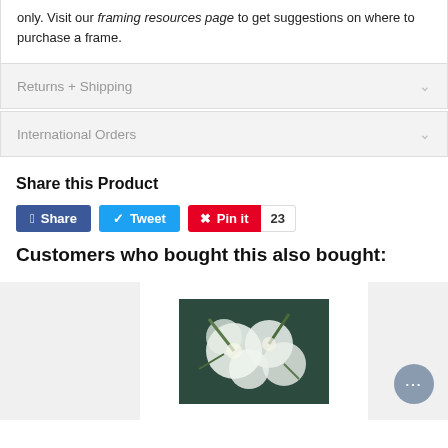only. Visit our framing resources page to get suggestions on where to purchase a frame.
Returns + Shipping
International Orders
Share this Product
Share  Tweet  Pin it  23
Customers who bought this also bought:
[Figure (photo): Product image showing a floral print artwork with white flowers and green tropical leaves on a dark background, displayed as a framed or mounted print on a light gray background.]